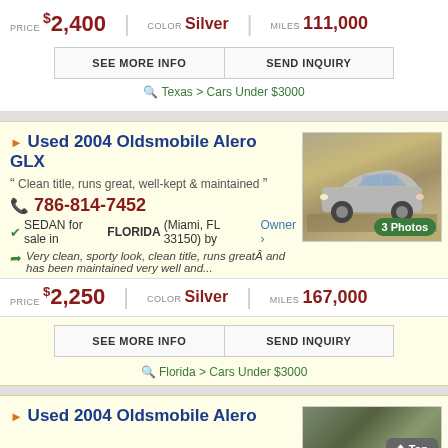PRICE $2,400 | COLOR Silver | MILES 111,000
SEE MORE INFO | SEND INQUIRY
Texas > Cars Under $3000
Used 2004 Oldsmobile Alero GLX
Clean title, runs great, well-kept & maintained
786-814-7452
SEDAN for sale in FLORIDA (Miami, FL 33150) by Owner
Very clean, sporty look, clean title, runs greatÂ and has been maintained very well and...
PRICE $2,250 | COLOR Silver | MILES 167,000
SEE MORE INFO | SEND INQUIRY
Florida > Cars Under $3000
Used 2004 Oldsmobile Alero